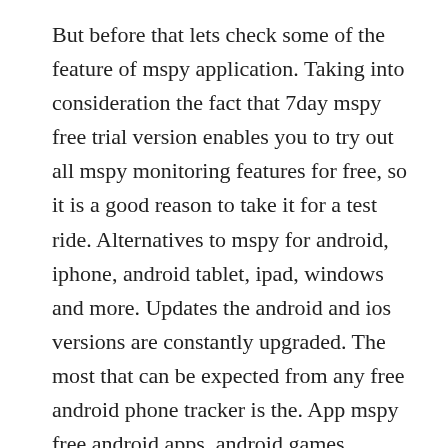But before that lets check some of the feature of mspy application. Taking into consideration the fact that 7day mspy free trial version enables you to try out all mspy monitoring features for free, so it is a good reason to take it for a test ride. Alternatives to mspy for android, iphone, android tablet, ipad, windows and more. Updates the android and ios versions are constantly upgraded. The most that can be expected from any free android phone tracker is the. App mspy free android apps, android games, android apps, android